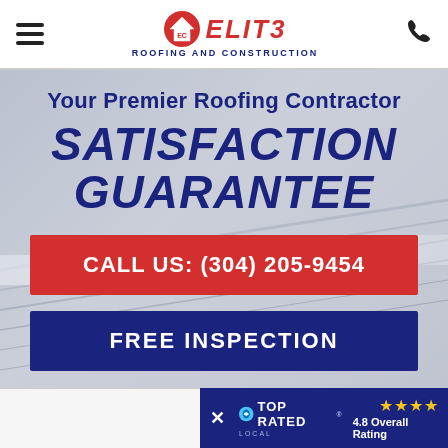Elite Roofing and Construction – navigation header with hamburger menu, logo, and phone icon
Your Premier Roofing Contractor
SATISFACTION GUARANTEE
CALL US: (304) 205-9454
FREE INSPECTION
✕ TOP RATED LOCAL – 4.8 Overall Rating ★★★★